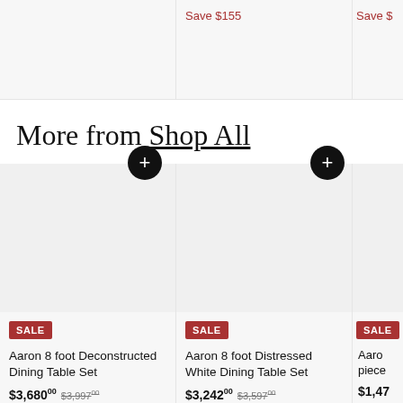Save $155
Save $
More from Shop All
[Figure (photo): Product image area for Aaron 8 foot Deconstructed Dining Table Set, gray background placeholder]
SALE
Aaron 8 foot Deconstructed Dining Table Set
$3,680.00  $3,997.00  Save $317
[Figure (photo): Product image area for Aaron 8 foot Distressed White Dining Table Set, gray background placeholder]
SALE
Aaron 8 foot Distressed White Dining Table Set
$3,242.00  $3,597.00  Save $355
[Figure (photo): Partially visible product card with SALE badge, Aaron piece]
SALE
Aaron piece
$1,47  Save $